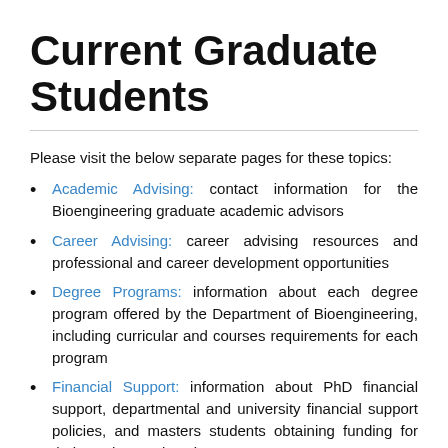Current Graduate Students
Please visit the below separate pages for these topics:
Academic Advising: contact information for the Bioengineering graduate academic advisors
Career Advising: career advising resources and professional and career development opportunities
Degree Programs: information about each degree program offered by the Department of Bioengineering, including curricular and courses requirements for each program
Financial Support: information about PhD financial support, departmental and university financial support policies, and masters students obtaining funding for their graduate education